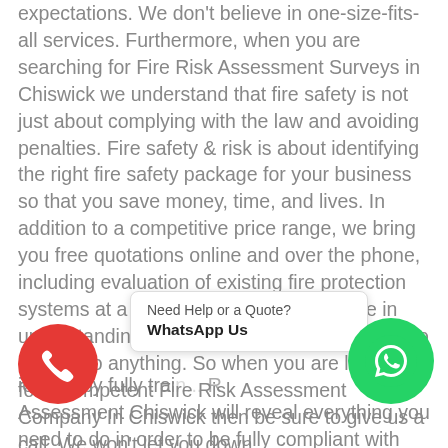expectations. We don't believe in one-size-fits-all services. Furthermore, when you are searching for Fire Risk Assessment Surveys in Chiswick we understand that fire safety is not just about complying with the law and avoiding penalties. Fire safety & risk is about identifying the right fire safety package for your business so that you save money, time, and lives. In addition to a competitive price range, we bring you free quotations online and over the phone, including evaluation of existing fire protection systems at a cost. All because we believe in understanding your needs before we ask you to commit to anything. So when you are looking for a competent Fire Risk Assessment Company In Chiswick then be sure to give us a call. We won't let you down.
[Figure (other): WhatsApp chat popup with text 'Need Help or a Quote?' and bold 'WhatsApp Us', a red phone call button circle on the left, and a green WhatsApp icon circle on the right]
ied out by fully trai... Assessment Chiswick will reveal everything you need to do in order to be fully compliant with the fire